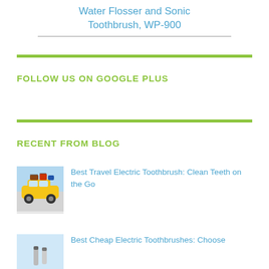Water Flosser and Sonic Toothbrush, WP-900
FOLLOW US ON GOOGLE PLUS
RECENT FROM BLOG
[Figure (photo): Thumbnail image of a yellow car loaded with luggage on top, traveling illustration]
Best Travel Electric Toothbrush: Clean Teeth on the Go
[Figure (photo): Thumbnail image partially visible, related to cheap electric toothbrushes]
Best Cheap Electric Toothbrushes: Choose